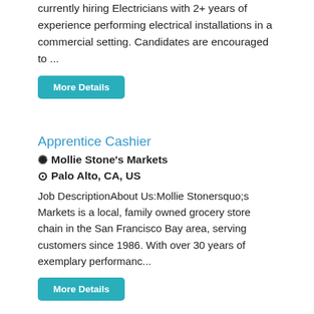currently hiring Electricians with 2+ years of experience performing electrical installations in a commercial setting. Candidates are encouraged to ...
More Details
Apprentice Cashier
Mollie Stone's Markets
Palo Alto, CA, US
Job DescriptionAbout Us:Mollie Stonersquo;s Markets is a local, family owned grocery store chain in the San Francisco Bay area, serving customers since 1986. With over 30 years of exemplary performanc...
More Details
Passenger Rail Mechanic Apprentice
Drummac
San Jose, CA, US